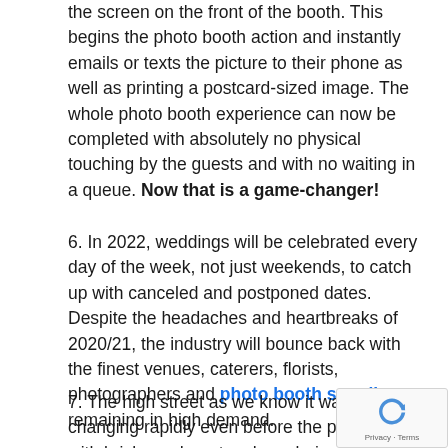the screen on the front of the booth. This begins the photo booth action and instantly emails or texts the picture to their phone as well as printing a postcard-sized image. The whole photo booth experience can now be completed with absolutely no physical touching by the guests and with no waiting in a queue. Now that is a game-changer!
6. In 2022, weddings will be celebrated every day of the week, not just weekends, to catch up with canceled and postponed dates. Despite the headaches and heartbreaks of 2020/21, the industry will bounce back with the finest venues, caterers, florists, photographers and photo booth suppliers remaining in high demand.
7. The high street as we know it was changing rapidly even before the pandemic with bricks and mortar shops being replaced by online sales. Retailers will need to encourage their clients to come into shops for an